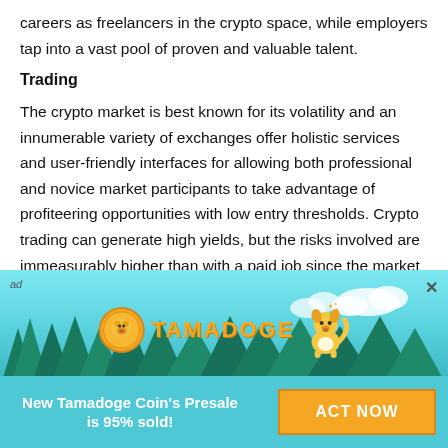careers as freelancers in the crypto space, while employers tap into a vast pool of proven and valuable talent.
Trading
The crypto market is best known for its volatility and an innumerable variety of exchanges offer holistic services and user-friendly interfaces for allowing both professional and novice market participants to take advantage of profiteering opportunities with low entry thresholds. Crypto trading can generate high yields, but the risks involved are immeasurably higher than with a paid job since the market is highly dynamic and is largely tethered to the value of anchor
[Figure (infographic): Tamadoge advertisement banner with teal/cyan background, pine trees silhouette, clouds, Tamadoge logo with coin icon and dog mascot illustration. Bottom section has text 'New Tamadoge Coin's Presale is 95% sold!' and an orange 'ACT NOW' button.]